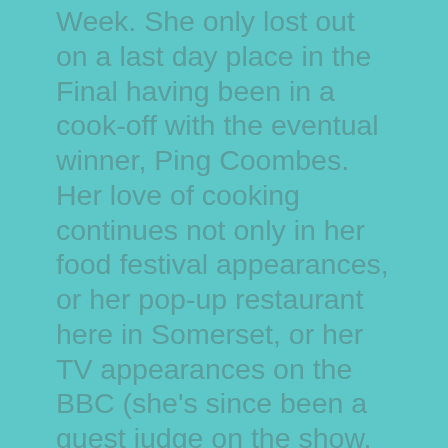Week. She only lost out on a last day place in the Final having been in a cook-off with the eventual winner, Ping Coombes. Her love of cooking continues not only in her food festival appearances, or her pop-up restaurant here in Somerset, or her TV appearances on the BBC (she's since been a guest judge on the show, as well as BBC Children In Need and BBC Breakfast) – but in her skincare. And now she is devoted to finding a recipe for great skin. She is very meticulous in her craft and it took time for me to get a sample of the bloom & glow, a fabulous radiance restoring face oil made with chia seed and sea buckthorn. I put it onto my face before going to bed and I wake up in the morning with a baby soft skin. Chia seed & sea buckthorn are blended together to deliver high levels of essential fatty acids, vitamins & antioxidants – it improves skin's elasticity, calms inflammation & restores radiance. Highly